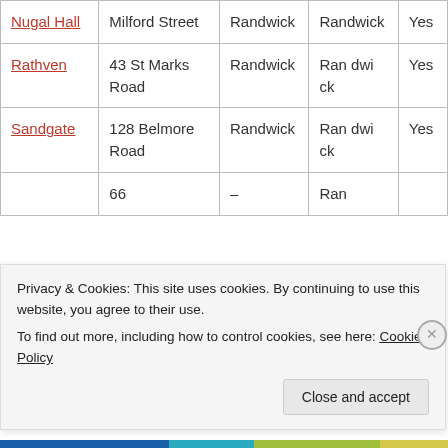| Name | Address | Suburb | Suburb | Listed |
| --- | --- | --- | --- | --- |
| Nugal Hall | Milford Street | Randwick | Randwick | Yes |
| Rathven | 43 St Marks Road | Randwick | Randwick | Yes |
| Sandgate | 128 Belmore Road | Randwick | Randwick | Yes |
|  | 66 |  | Ran |  |
Privacy & Cookies: This site uses cookies. By continuing to use this website, you agree to their use.
To find out more, including how to control cookies, see here: Cookie Policy